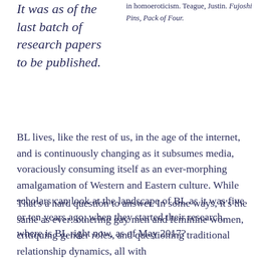It was as of the last batch of research papers to be published.
in homoeroticism. Teague, Justin. Fujoshi Pins, Pack of Four.
BL lives, like the rest of us, in the age of the internet, and is continuously changing as it subsumes media, voraciously consuming itself as an ever-morphing amalgamation of Western and Eastern culture. While scholars can look at the landscape of BL as it was five or ten years ago, when they started their research, where is BL right now, as of May 2017?
That's a hard question to answer. In some ways, it's the same as ever: othering gay men and feminine women, critiquing gender roles, and questioning traditional relationship dynamics, all with